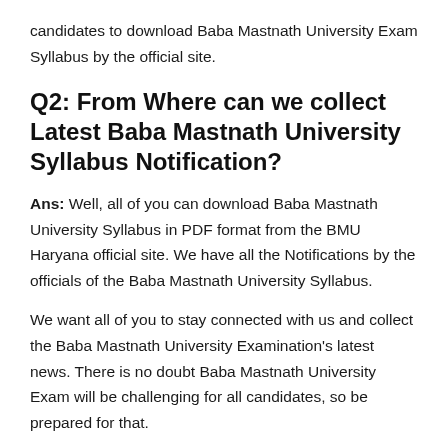candidates to download Baba Mastnath University Exam Syllabus by the official site.
Q2: From Where can we collect Latest Baba Mastnath University Syllabus Notification?
Ans: Well, all of you can download Baba Mastnath University Syllabus in PDF format from the BMU Haryana official site. We have all the Notifications by the officials of the Baba Mastnath University Syllabus.
We want all of you to stay connected with us and collect the Baba Mastnath University Examination's latest news. There is no doubt Baba Mastnath University Exam will be challenging for all candidates, so be prepared for that.